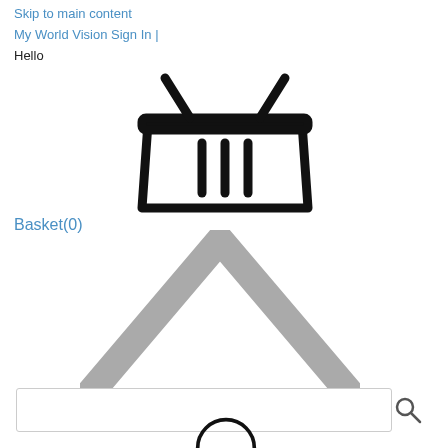Skip to main content
My World Vision Sign In | Hello
[Figure (illustration): Shopping basket icon — black outline of a wicker-style basket with two crossed handles at the top and three vertical bars inside the basket body]
Basket(0)
[Figure (illustration): Gray chevron / upward pointing arrow (caret) shape — thick gray outline forming an inverted V]
[Figure (illustration): Search input box with a magnifying glass icon on the right side]
[Figure (illustration): Partial black circle/arc visible at the bottom of the page]